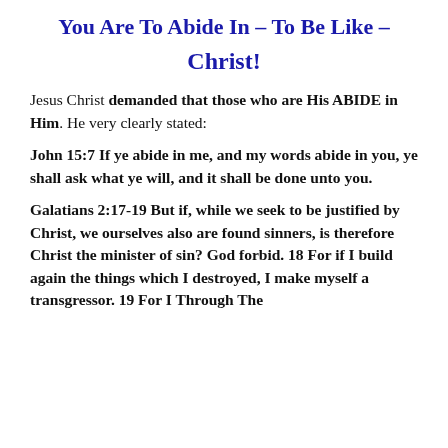You Are To Abide In – To Be Like – Christ!
Jesus Christ demanded that those who are His ABIDE in Him. He very clearly stated:
John 15:7 If ye abide in me, and my words abide in you, ye shall ask what ye will, and it shall be done unto you.
Galatians 2:17-19 But if, while we seek to be justified by Christ, we ourselves also are found sinners, is therefore Christ the minister of sin? God forbid. 18 For if I build again the things which I destroyed, I make myself a transgressor. 19 For I Through The